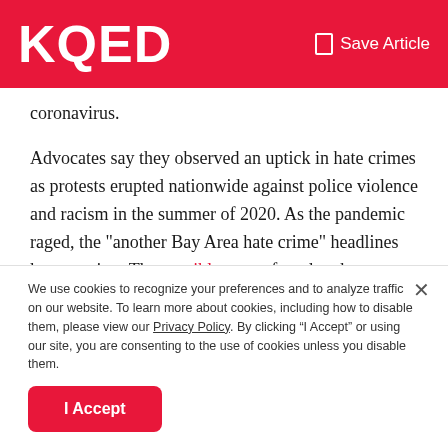KQED  Save Article
coronavirus.
Advocates say they observed an uptick in hate crimes as protests erupted nationwide against police violence and racism in the summer of 2020. As the pandemic raged, the "another Bay Area hate crime" headlines kept coming: The possible noose found at the Sonoma Raceway. The defacement of a Black Lives Matter mural. Racist graffiti. A string of at least five incidents in Oakland, in one
We use cookies to recognize your preferences and to analyze traffic on our website. To learn more about cookies, including how to disable them, please view our Privacy Policy. By clicking “I Accept” or using our site, you are consenting to the use of cookies unless you disable them.
I Accept